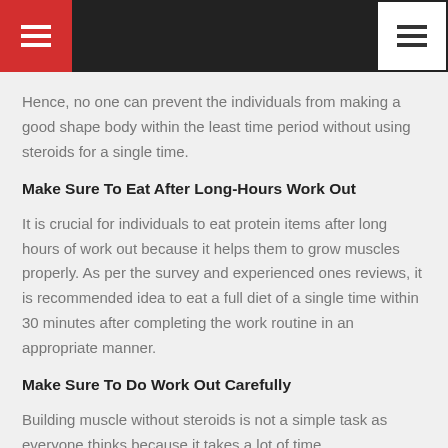Hence, no one can prevent the individuals from making a good shape body within the least time period without using steroids for a single time.
Make Sure To Eat After Long-Hours Work Out
It is crucial for individuals to eat protein items after long hours of work out because it helps them to grow muscles properly. As per the survey and experienced ones reviews, it is recommended idea to eat a full diet of a single time within 30 minutes after completing the work routine in an appropriate manner.
Make Sure To Do Work Out Carefully
Building muscle without steroids is not a simple task as everyone thinks because it takes a lot of time